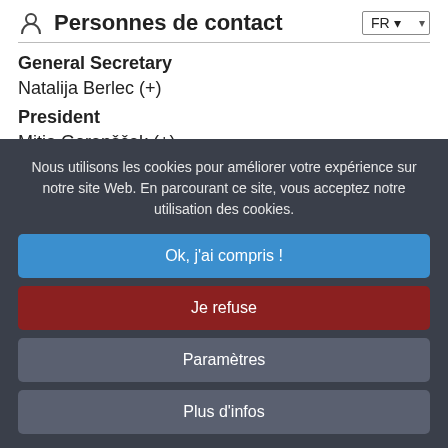Personnes de contact
General Secretary
Natalija Berlec (+)
President
Mitja Gorenšček (+)
Nous utilisons les cookies pour améliorer votre expérience sur notre site Web. En parcourant ce site, vous acceptez notre utilisation des cookies.
Ok, j'ai compris !
Je refuse
Paramètres
Plus d'infos